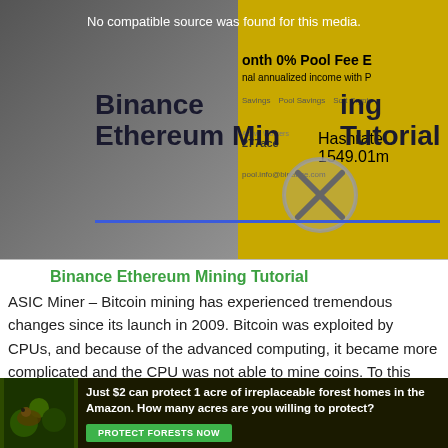[Figure (screenshot): Video placeholder showing 'No compatible source was found for this media.' with Binance Ethereum Mining Tutorial title on dark background, and a yellow panel on the right with pool fee information and mining statistics.]
Binance Ethereum Mining Tutorial
ASIC Miner – Bitcoin mining has experienced tremendous changes since its launch in 2009. Bitcoin was exploited by CPUs, and because of the advanced computing, it became more complicated and the CPU was not able to mine coins. To this end, miners introduced what they call a new
[Figure (screenshot): Advertisement banner: 'Just $2 can protect 1 acre of irreplaceable forest homes in the Amazon. How many acres are you willing to protect?' with PROTECT FORESTS NOW green button and forest animal image.]